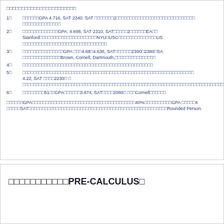□□□□□□□□□□□□□□□□□□□□□□□
1□　□□□□□□GPA 4.716, SAT 2340. SAT □□□□□□□2□□□□□□□□□□□□□□□□□□□□□□□□□□□□□
2□　□□□□□□□□□□□□□GPA: 4.698, SAT 2310, SAT□□□□□2□□□□□□EA□□ Stanford□□□□□□□□□□□□□□□□□□□□□NYU□USC□□□□□□□□□□□□□US□□□□□□□□□□□□□□□□□□□□□□□□□□□□□
3□　□□□□□□□□□□□□□□□GPA □□□4.68□4.636, SAT□□□□□□2390□2380□SA□□□□□□□□□□□□□□□Brown, Cornell, Dartmouth,□□□□□□□□□□□□□□□
4□　□□□□□□□□□□□□□□□□□□□□□□□□□□□□□□□□□□□□□□□□□□□□□□□□
5□　□□□□□□□□□□□□□□□□□□□□□□□□□□□□□□□□□□□□□□□□□□□□□□□□□□□□□□□□□□□□□□ 4.22, SAT □□□□2230□ □ □□□□□□□□□□□□□□□□□□□□□□□□□□□□□□□□□□□□□□□□□□□□□□□□□□□□□□□□□□□□□□□□□□□□□□□□□□
6□　□□□□□□□□51□□GPA□□□□□□3.874, SAT□□□□2080□ □□□Cornell□□□□□□
□□□□□□GPA□□□□□□□□□□□□□□□□□□□□□□□□□□□□□□□□□□□□□□40%□□□□□□□□□□GPA □□□□□4□□□□□SAT□□□□□□□□□□□□□□□□□□□□□□□□□□□□□□□□□□□□□□□□□□□□□□□□□□Rounded Person.
□□□□□□□□□□□PRE-CALCULUS□